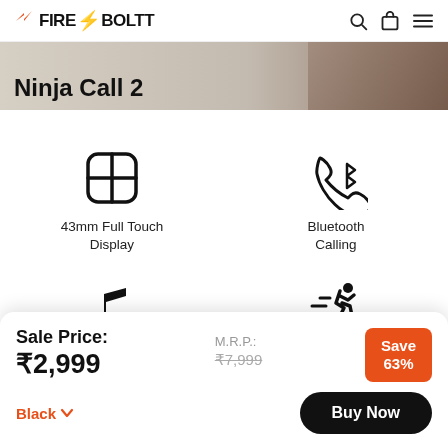Fire-Boltt
Ninja Call 2
43mm Full Touch Display
Bluetooth Calling
Play Local Music
27 Sports Modes
Sale Price: ₹2,999
M.R.P.: ₹7,999
Save 63%
Black
Buy Now